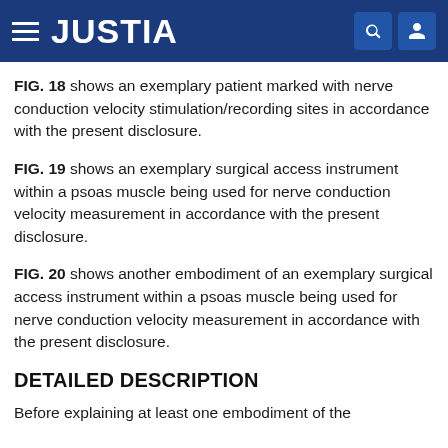JUSTIA
FIG. 18 shows an exemplary patient marked with nerve conduction velocity stimulation/recording sites in accordance with the present disclosure.
FIG. 19 shows an exemplary surgical access instrument within a psoas muscle being used for nerve conduction velocity measurement in accordance with the present disclosure.
FIG. 20 shows another embodiment of an exemplary surgical access instrument within a psoas muscle being used for nerve conduction velocity measurement in accordance with the present disclosure.
DETAILED DESCRIPTION
Before explaining at least one embodiment of the